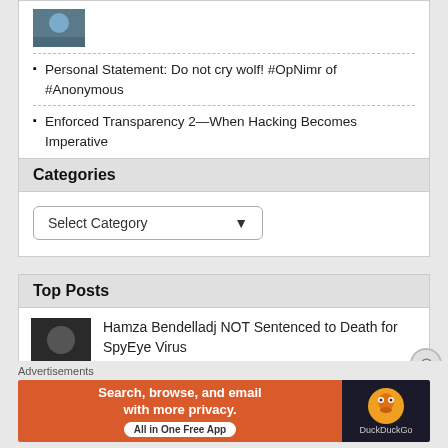[Figure (photo): Small thumbnail image at top of card]
Personal Statement: Do not cry wolf! #OpNimr of #Anonymous
Enforced Transparency 2—When Hacking Becomes Imperative
Categories
Select Category
Top Posts
[Figure (photo): Thumbnail image of person for top post]
Hamza Bendelladj NOT Sentenced to Death for SpyEye Virus
Advertisements
[Figure (illustration): DuckDuckGo advertisement banner: Search, browse, and email with more privacy. All in One Free App]